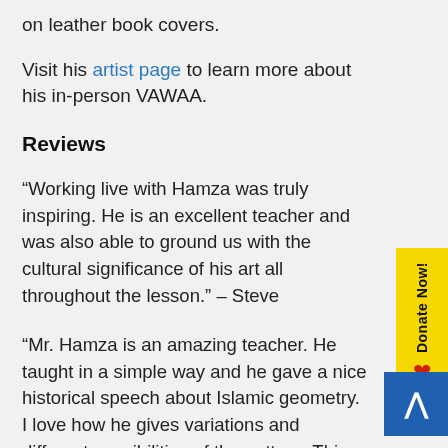on leather book covers.
Visit his artist page to learn more about his in-person VAWAA.
Reviews
“Working live with Hamza was truly inspiring. He is an excellent teacher and was also able to ground us with the cultural significance of his art all throughout the lesson.” – Steve
“Mr. Hamza is an amazing teacher. He taught in a simple way and he gave a nice historical speech about Islamic geometry. I love how he gives variations and different possibilities of the pattern. This opens up our curiosity and